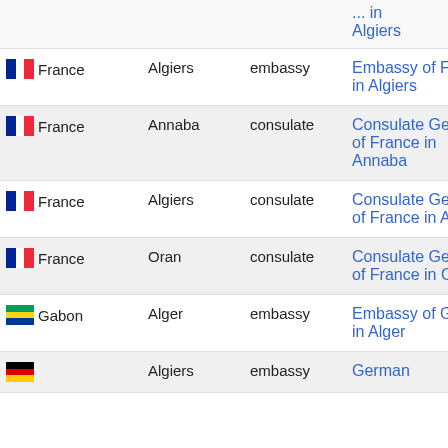| Country | City | Type | Name |
| --- | --- | --- | --- |
| (partial top row) | Algiers |  | ... in Algiers |
| France | Algiers | embassy | Embassy of France in Algiers |
| France | Annaba | consulate | Consulate General of France in Annaba |
| France | Algiers | consulate | Consulate General of France in Algiers |
| France | Oran | consulate | Consulate General of France in Oran |
| Gabon | Alger | embassy | Embassy of Gabon in Alger |
| (Germany partial) | Algiers | embassy | German... |